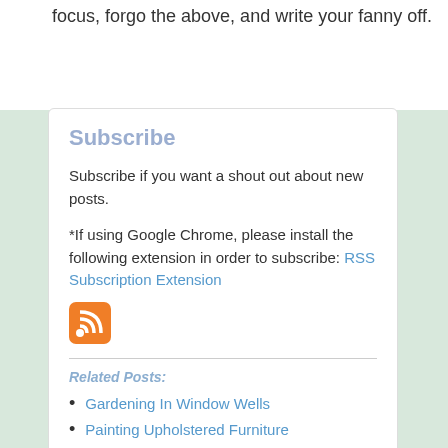focus, forgo the above, and write your fanny off.
Subscribe
Subscribe if you want a shout out about new posts.
*If using Google Chrome, please install the following extension in order to subscribe: RSS Subscription Extension
[Figure (logo): Orange RSS feed icon button]
Related Posts:
Gardening In Window Wells
Painting Upholstered Furniture
Why I Love the OP!!
Quick & Easy DIY Photo Wreath
DIY – Old Window Wall Cabinet